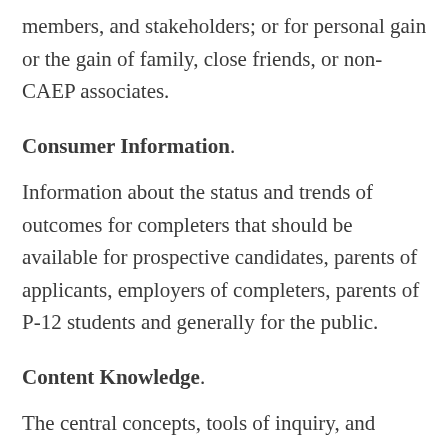members, and stakeholders; or for personal gain or the gain of family, close friends, or non-CAEP associates.
Consumer Information.
Information about the status and trends of outcomes for completers that should be available for prospective candidates, parents of applicants, employers of completers, parents of P-12 students and generally for the public.
Content Knowledge.
The central concepts, tools of inquiry, and